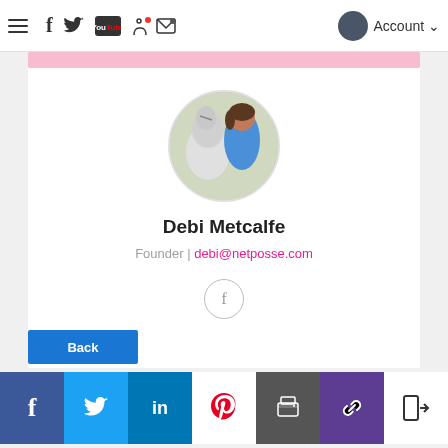Navigation bar with hamburger menu, Facebook, Twitter, YouTube, cart, chat, and Account icons
[Figure (photo): Circular profile photo of Debi Metcalfe with a white horse, outdoors with green background]
Debi Metcalfe
Founder | debi@netposse.com
[Figure (other): Circular Facebook link icon]
Back
Social share bar: Facebook, Twitter, LinkedIn, Pinterest, Print, Link, Logout